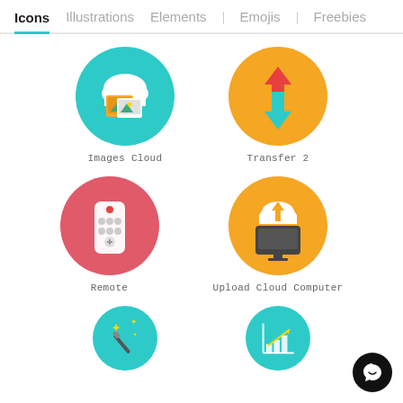Icons  Illustrations  Elements  Emojis  Freebies
[Figure (illustration): Teal circle icon with cloud and photos (Images Cloud)]
Images Cloud
[Figure (illustration): Yellow/orange circle icon with red up arrow and teal down arrow (Transfer 2)]
Transfer 2
[Figure (illustration): Red/pink circle icon with white remote control (Remote)]
Remote
[Figure (illustration): Yellow/orange circle icon with computer and upload cloud (Upload Cloud Computer)]
Upload Cloud Computer
[Figure (illustration): Teal circle icon with magic wand and sparkles (partially visible)]
[Figure (illustration): Teal circle icon with bar chart and arrow (partially visible)]